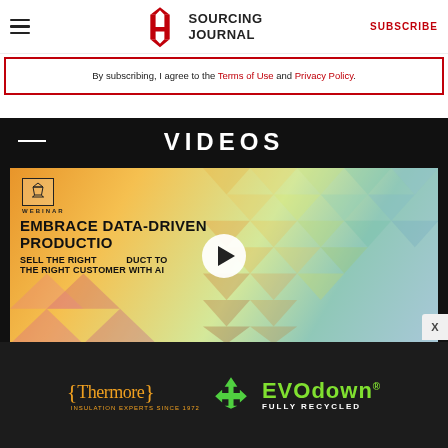Sourcing Journal — SUBSCRIBE
By subscribing, I agree to the Terms of Use and Privacy Policy.
VIDEOS
[Figure (screenshot): Webinar video thumbnail titled 'EMBRACE DATA-DRIVEN PRODUCTION / SELL THE RIGHT PRODUCT TO THE RIGHT CUSTOMER WITH AI' with a play button overlay, on a colorful geometric background. Sourcing Journal Webinar logo in top left.]
[Figure (advertisement): Thermore Insulation Experts Since 1972 — EVO down FULLY RECYCLED advertisement banner on dark background with green recycling icon]